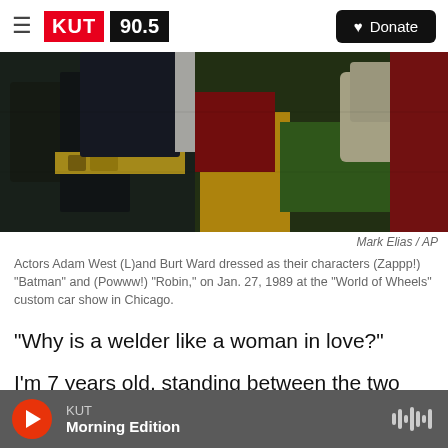KUT 90.5 | Donate
[Figure (photo): Two people dressed as Batman and Robin superhero characters in costume, partial body view showing gloves and costume details]
Mark Elias / AP
Actors Adam West (L)and Burt Ward dressed as their characters (Zappp!) "Batman" and (Powww!) "Robin," on Jan. 27, 1989 at the "World of Wheels" custom car show in Chicago.
"Why is a welder like a woman in love?"
I'm 7 years old, standing between the two dogwood trees in my backyard. It's autumn; there's a crispness in the golden, late afternoon air. I've
KUT Morning Edition